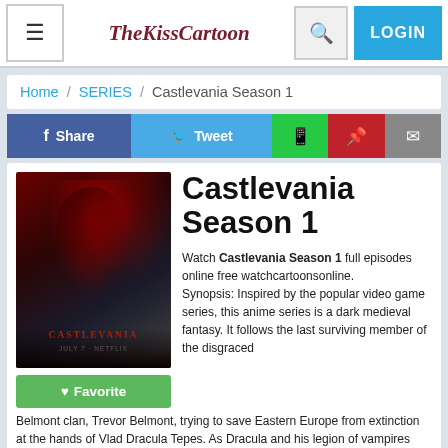TheKissCartoon — LOGIN
Home / SERIES / Castlevania Season 1
[Figure (screenshot): Social sharing buttons: Share (Facebook), Tweet (Twitter), WhatsApp, Pinterest, Email]
[Figure (photo): Castlevania Season 1 Netflix anime poster showing a dark medieval fantasy character]
Castlevania Season 1
Watch Castlevania Season 1 full episodes online free watchcartoonsonline. Synopsis: Inspired by the popular video game series, this anime series is a dark medieval fantasy. It follows the last surviving member of the disgraced Belmont clan, Trevor Belmont, trying to save Eastern Europe from extinction at the hands of Vlad Dracula Tepes. As Dracula and his legion of vampires prepare to rid the world of humanity's stain, Belmont is no longer